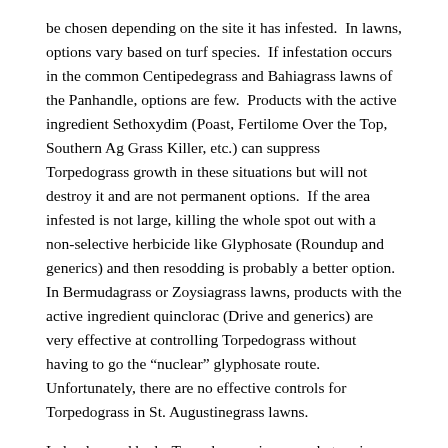be chosen depending on the site it has infested.  In lawns, options vary based on turf species.  If infestation occurs in the common Centipedegrass and Bahiagrass lawns of the Panhandle, options are few.  Products with the active ingredient Sethoxydim (Poast, Fertilome Over the Top, Southern Ag Grass Killer, etc.) can suppress Torpedograss growth in these situations but will not destroy it and are not permanent options.  If the area infested is not large, killing the whole spot out with a non-selective herbicide like Glyphosate (Roundup and generics) and then resodding is probably a better option.  In Bermudagrass or Zoysiagrass lawns, products with the active ingredient quinclorac (Drive and generics) are very effective at controlling Torpedograss without having to go the “nuclear” glyphosate route.  Unfortunately, there are no effective controls for Torpedograss in St. Augustinegrass lawns.
In landscaped beds, Torpedograss is somewhat easier